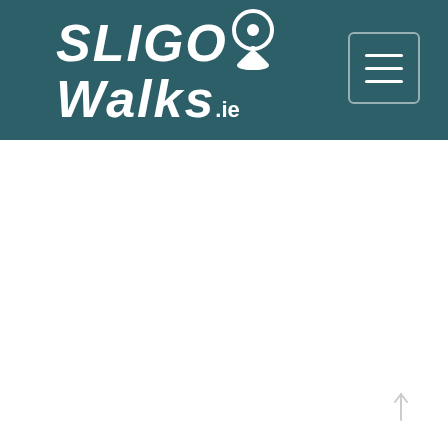[Figure (logo): SligoWalks.ie logo — white bold italic text with a map pin icon, on a dark teal header bar]
[Figure (other): Hamburger menu button (three horizontal white lines) in a rounded rectangle border, top right of header]
[Figure (other): Upward-pointing arrow/scroll-to-top icon at bottom right of white content area]